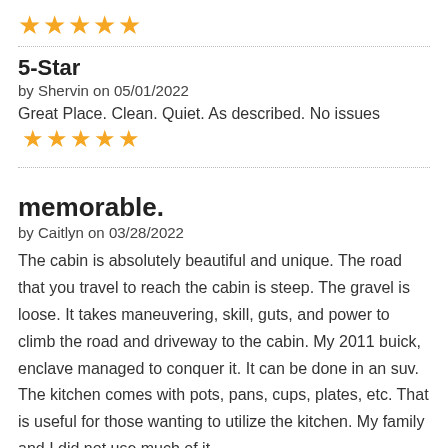[Figure (other): 5 gold star rating icons]
5-Star
by Shervin on 05/01/2022
Great Place. Clean. Quiet. As described. No issues
[Figure (other): 5 gold star rating icons]
memorable.
by Caitlyn on 03/28/2022
The cabin is absolutely beautiful and unique. The road that you travel to reach the cabin is steep. The gravel is loose. It takes maneuvering, skill, guts, and power to climb the road and driveway to the cabin. My 2011 buick, enclave managed to conquer it. It can be done in an suv. The kitchen comes with pots, pans, cups, plates, etc. That is useful for those wanting to utilize the kitchen. My family and I did not use much of it